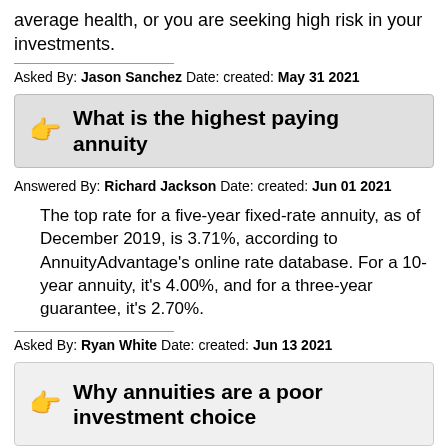average health, or you are seeking high risk in your investments.
Asked By: Jason Sanchez Date: created: May 31 2021
What is the highest paying annuity
Answered By: Richard Jackson Date: created: Jun 01 2021
The top rate for a five-year fixed-rate annuity, as of December 2019, is 3.71%, according to AnnuityAdvantage's online rate database. For a 10-year annuity, it's 4.00%, and for a three-year guarantee, it's 2.70%.
Asked By: Ryan White Date: created: Jun 13 2021
Why annuities are a poor investment choice